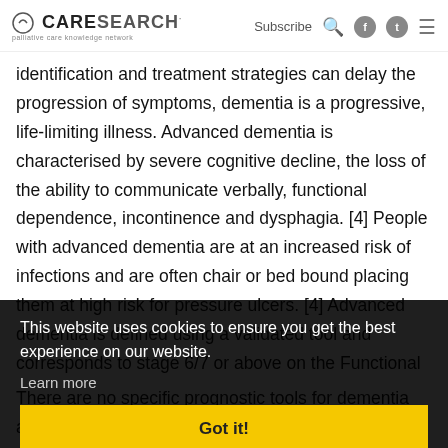CARESEARCH palliative care knowledge network | Subscribe | [icons]
identification and treatment strategies can delay the progression of symptoms, dementia is a progressive, life-limiting illness. Advanced dementia is characterised by severe cognitive decline, the loss of the ability to communicate verbally, functional dependence, incontinence and dysphagia. [4] People with advanced dementia are at an increased risk of infections and are often chair or bed bound placing them at high risk for pressure ulcers. [4] Advanced dementia is defined using a validated tool and corresponds to stage 6/7 or above on the Functional Assessment Staging Test (FAST), CDR-3 (severe) on the Clinical Dementia Rating Scale (CDR) or stage 7 on the Global Deterioration Scale (GDS). [4]
This website uses cookies to ensure you get the best experience on our website.
Learn more
Got it!
There are no specific prognostic tools for dementia and